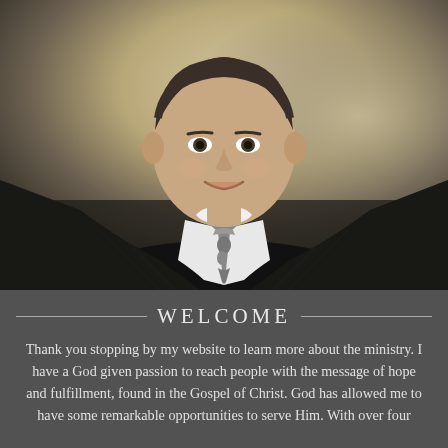[Figure (photo): Professional headshot of a man in a dark pinstripe suit and paisley tie, smiling, with a blurred warm-toned background]
WELCOME
Thank you stopping by my website to learn more about the ministry. I have a God given passion to reach people with the message of hope and fulfillment, found in the Gospel of Christ. God has allowed me to have some remarkable opportunities to serve Him. With over four